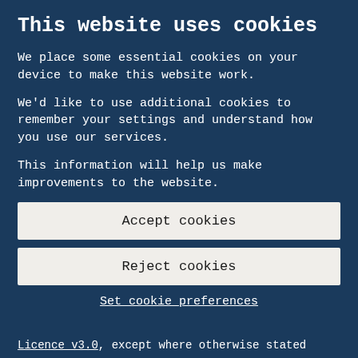This website uses cookies
We place some essential cookies on your device to make this website work.
We'd like to use additional cookies to remember your settings and understand how you use our services.
This information will help us make improvements to the website.
Accept cookies
Reject cookies
Set cookie preferences
Licence v3.0, except where otherwise stated